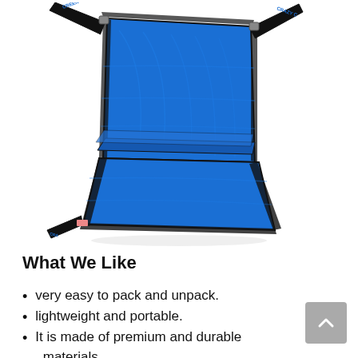[Figure (photo): A blue foldable stadium/bleacher seat chair with black trim and straps, shown at an angle. The chair has 'CREEK CRA' visible on the straps. It is a padded seat with a back rest that folds flat.]
What We Like
very easy to pack and unpack.
lightweight and portable.
It is made of premium and durable materials.
can be used for different trips and